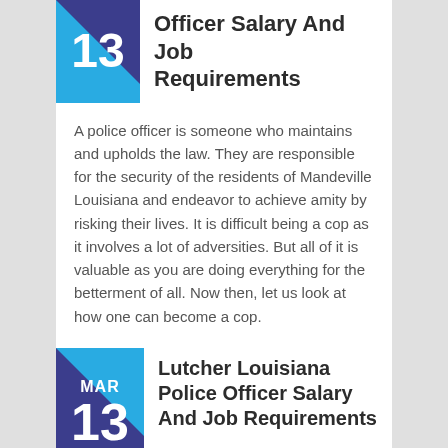Officer Salary And Job Requirements
A police officer is someone who maintains and upholds the law. They are responsible for the security of the residents of Mandeville Louisiana and endeavor to achieve amity by risking their lives. It is difficult being a cop as it involves a lot of adversities. But all of it is valuable as you are doing everything for the betterment of all. Now then, let us look at how one can become a cop.
Lutcher Louisiana Police Officer Salary And Job Requirements
A cop is a person who preserves and advocates the law. They are responsible for the protection of the inhabitants in Lutcher Louisiana and make every effort